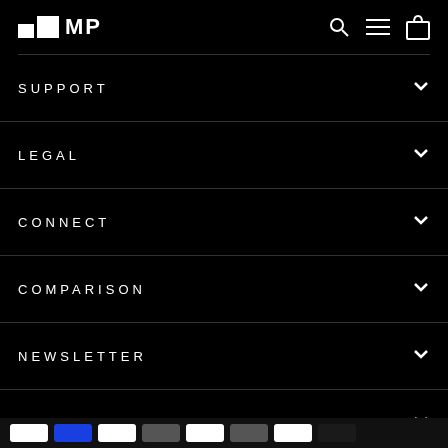MP
SUPPORT
LEGAL
CONNECT
COMPARISON
NEWSLETTER
CONTACT US